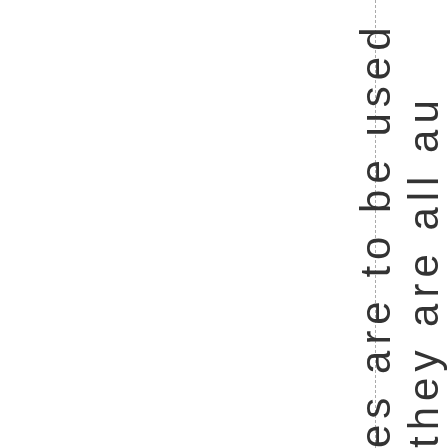[Figure (other): Page layout with dashed vertical lines and a pink highlighted column band, with rotated vertical text reading 'es are to be used they are all au' running top to bottom on the right side]
es are to be used they are all au